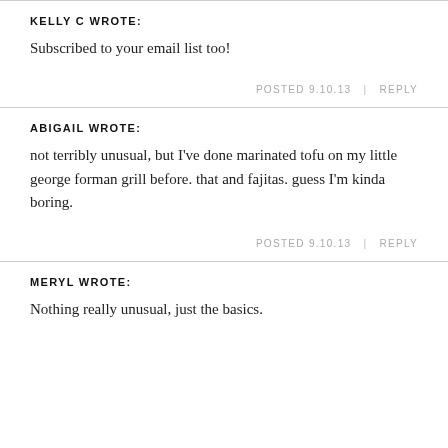KELLY C WROTE:
Subscribed to your email list too!
POSTED 9.10.13  |  REPLY
ABIGAIL WROTE:
not terribly unusual, but I've done marinated tofu on my little george forman grill before. that and fajitas. guess I'm kinda boring.
POSTED 9.10.13  |  REPLY
MERYL WROTE:
Nothing really unusual, just the basics.